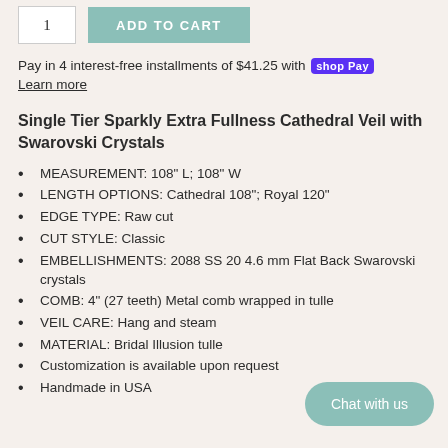1  ADD TO CART
Pay in 4 interest-free installments of $41.25 with shop Pay
Learn more
Single Tier Sparkly Extra Fullness Cathedral Veil with Swarovski Crystals
MEASUREMENT: 108" L; 108" W
LENGTH OPTIONS: Cathedral 108"; Royal 120"
EDGE TYPE: Raw cut
CUT STYLE: Classic
EMBELLISHMENTS: 2088 SS 20 4.6 mm Flat Back Swarovski crystals
COMB: 4" (27 teeth) Metal comb wrapped in tulle
VEIL CARE: Hang and steam
MATERIAL: Bridal Illusion tulle
Customization is available upon request
Handmade in USA